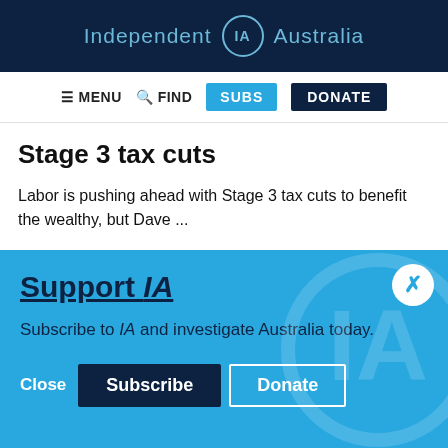Independent IA Australia
MENU  FIND  SUBS  DONATE
Stage 3 tax cuts
Labor is pushing ahead with Stage 3 tax cuts to benefit the wealthy, but Dave ...
Support IA
Subscribe to IA and investigate Australia today.
Close  Subscribe  Donate
Social media icons: Twitter, Facebook, LinkedIn, Flipboard, Link, Plus